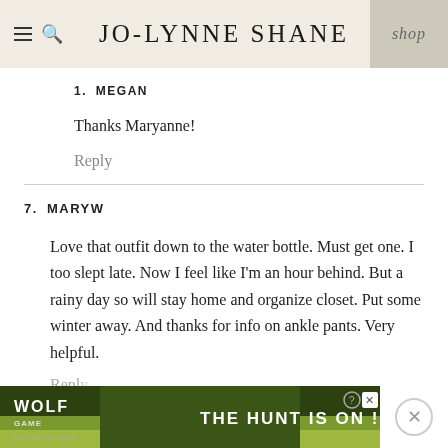JO-LYNNE SHANE | shop
1. MEGAN
Thanks Maryanne!
Reply
7. MARYW
Love that outfit down to the water bottle. Must get one. I too slept late. Now I feel like I'm an hour behind. But a rainy day so will stay home and organize closet. Put some winter away. And thanks for info on ankle pants. Very helpful.
Reply
[Figure (screenshot): Wolf Game advertisement banner at bottom: 'THE HUNT IS ON!' with wolves on a green field background]